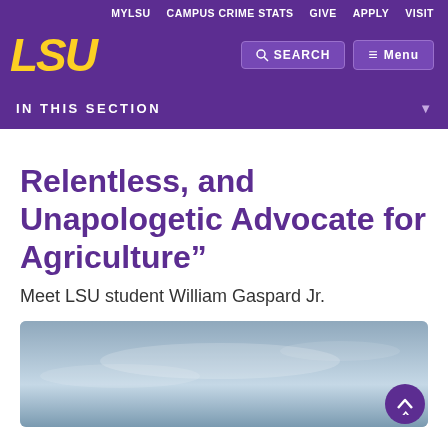MYLSU  CAMPUS CRIME STATS  GIVE  APPLY  VISIT
[Figure (logo): LSU logo in yellow italic bold text on purple background]
IN THIS SECTION
Relentless, and Unapologetic Advocate for Agriculture”
Meet LSU student William Gaspard Jr.
[Figure (photo): Partial photo of a person, sky visible in background]